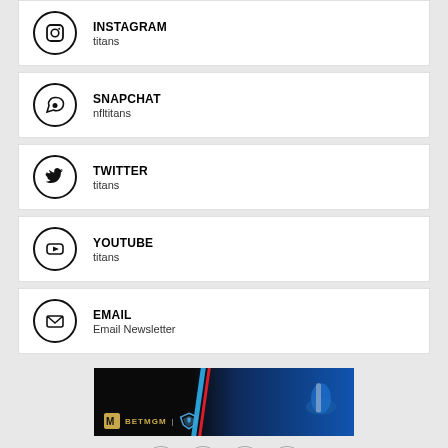INSTAGRAM
titans
SNAPCHAT
nfltitans
TWITTER
titans
YOUTUBE
titans
EMAIL
Email Newsletter
[Figure (illustration): BetMGM and Tennessee Titans advertisement banner with blue football equipment and team logo]
[Figure (infographic): Row of four social share icon circles: Facebook, Twitter, Email, Link]